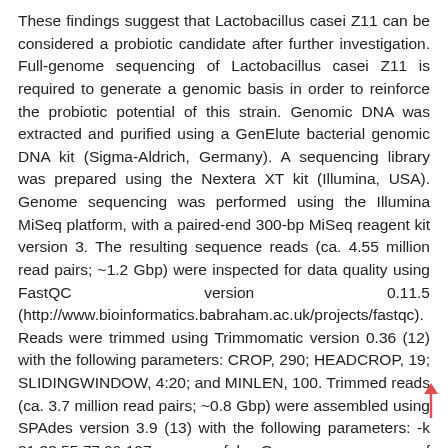These findings suggest that Lactobacillus casei Z11 can be considered a probiotic candidate after further investigation. Full-genome sequencing of Lactobacillus casei Z11 is required to generate a genomic basis in order to reinforce the probiotic potential of this strain. Genomic DNA was extracted and purified using a GenElute bacterial genomic DNA kit (Sigma-Aldrich, Germany). A sequencing library was prepared using the Nextera XT kit (Illumina, USA). Genome sequencing was performed using the Illumina MiSeq platform, with a paired-end 300-bp MiSeq reagent kit version 3. The resulting sequence reads (ca. 4.55 million read pairs; ~1.2 Gbp) were inspected for data quality using FastQC version 0.11.5 (http://www.bioinformatics.babraham.ac.uk/projects/fastqc). Reads were trimmed using Trimmomatic version 0.36 (12) with the following parameters: CROP, 290; HEADCROP, 19; SLIDINGWINDOW, 4:20; and MINLEN, 100. Trimmed reads (ca. 3.7 million read pairs; ~0.8 Gbp) were assembled using SPAdes version 3.9 (13) with the following parameters: -k 21,33,55,77,99,127 – careful. Genome coverage of assembly contigs and G≤C content were determined using BBMap version 35.x (https://